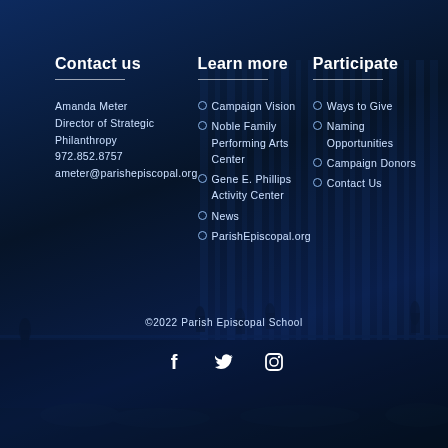Contact us
Learn more
Participate
Amanda Meter
Director of Strategic Philanthropy
972.852.8757
ameter@parishepiscopal.org
Campaign Vision
Noble Family Performing Arts Center
Gene E. Phillips Activity Center
News
ParishEpiscopal.org
Ways to Give
Naming Opportunities
Campaign Donors
Contact Us
©2022 Parish Episcopal School